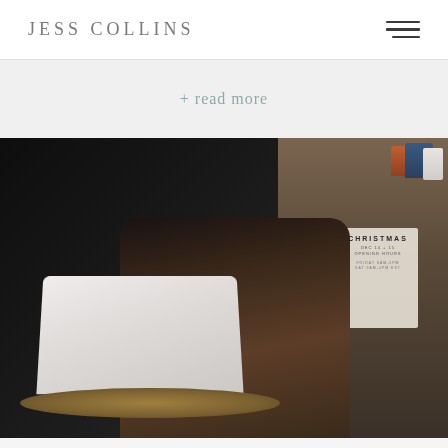JESS COLLINS
+ read more
[Figure (photo): Woman with dark hair wearing a floral dress sitting at a small round table working on a white MacBook laptop. The setting appears to be a cafe or shop with dark walls. In the background there is a Christmas-themed sign and shopping bags visible through a window or doorway.]